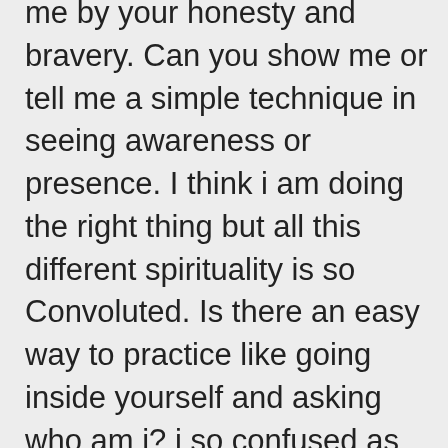me by your honesty and bravery. Can you show me or tell me a simple technique in seeing awareness or presence. I think i am doing the right thing but all this different spirituality is so Convoluted. Is there an easy way to practice like going inside yourself and asking who am i? i so confused as there is so many techniques but they become Intelectual when they go off on one about Sanscrict abstractions. Please help e with a simple meditation technique which is effective. Many thanks love Shaun Dixon.